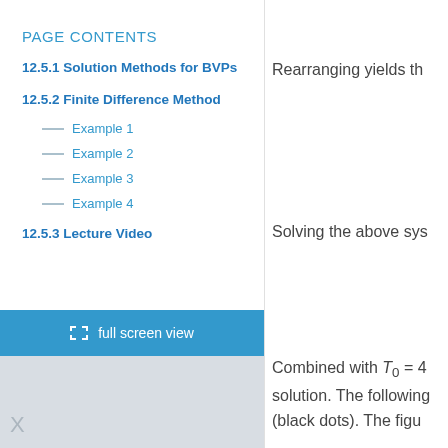PAGE CONTENTS
12.5.1 Solution Methods for BVPs
12.5.2 Finite Difference Method
Example 1
Example 2
Example 3
Example 4
12.5.3 Lecture Video
full screen view
Rearranging yields th
Solving the above sys
Combined with T₀ = 4 solution. The following (black dots). The figu